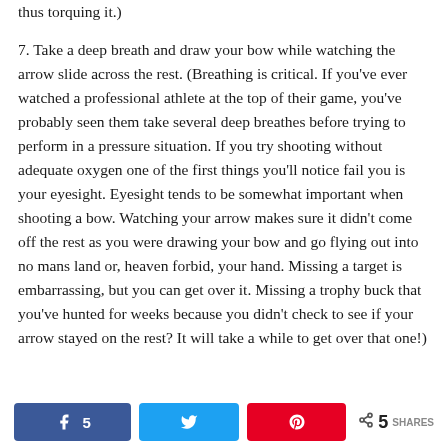thus torquing it.)
7. Take a deep breath and draw your bow while watching the arrow slide across the rest. (Breathing is critical. If you’ve ever watched a professional athlete at the top of their game, you’ve probably seen them take several deep breathes before trying to perform in a pressure situation. If you try shooting without adequate oxygen one of the first things you’ll notice fail you is your eyesight. Eyesight tends to be somewhat important when shooting a bow. Watching your arrow makes sure it didn’t come off the rest as you were drawing your bow and go flying out into no mans land or, heaven forbid, your hand. Missing a target is embarrassing, but you can get over it. Missing a trophy buck that you’ve hunted for weeks because you didn’t check to see if your arrow stayed on the rest? It will take a while to get over that one!)
< 5 SHARES